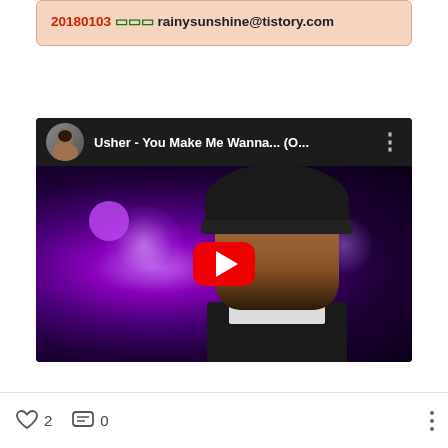20180103 □□□ rainysunshine@tistory.com
[Figure (screenshot): YouTube embed thumbnail showing Usher - You Make Me Wanna... (O... video with play button overlay]
♡ 2  □ 0  ⋮